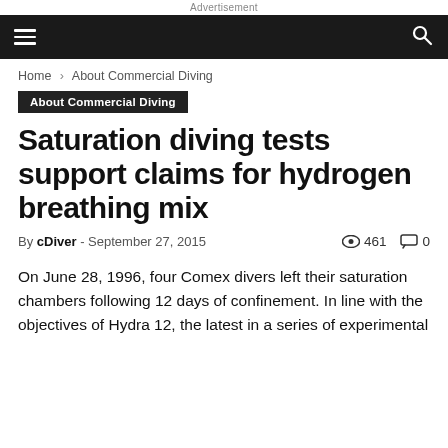Advertisement
About Commercial Diving
Saturation diving tests support claims for hydrogen breathing mix
By cDiver - September 27, 2015  461  0
On June 28, 1996, four Comex divers left their saturation chambers following 12 days of confinement. In line with the objectives of Hydra 12, the latest in a series of experimental